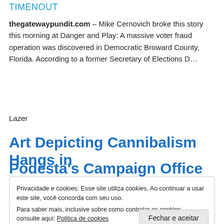TIMENOUT
thegatewaypundit.com – Mike Cernovich broke this story this morning at Danger and Play: A massive voter fraud operation was discovered in Democratic Broward County, Florida. According to a former Secretary of Elections D…
Lazer
Art Depicting Cannibalism Hangs in
Podesta's Campaign Office
Privacidade e cookies: Esse site utiliza cookies. Ao continuar a usar este site, você concorda com seu uso.
Para saber mais, inclusive sobre como controlar os cookies, consulte aqui: Politica de cookies
Fechar e aceitar
infowars